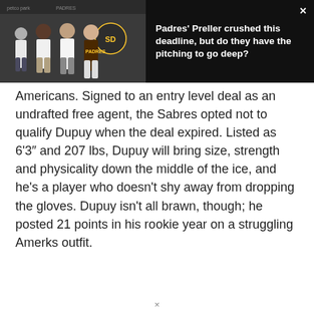[Figure (photo): Photo of four men posing at a Padres event with Petco Park signage in background, alongside a dark overlay with article headline text 'Padres' Preller crushed this deadline, but do they have the pitching to go deep?' and a close button X]
Americans. Signed to an entry level deal as an undrafted free agent, the Sabres opted not to qualify Dupuy when the deal expired. Listed as 6'3″ and 207 lbs, Dupuy will bring size, strength and physicality down the middle of the ice, and he's a player who doesn't shy away from dropping the gloves. Dupuy isn't all brawn, though; he posted 21 points in his rookie year on a struggling Amerks outfit.
×